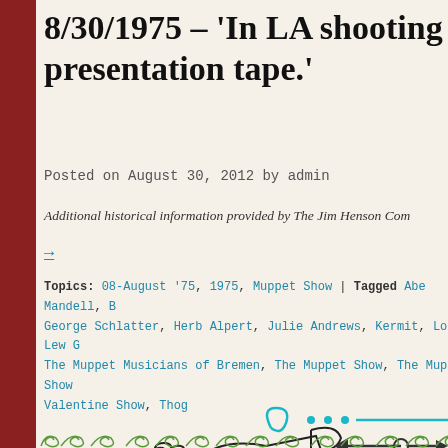8/30/1975 – 'In LA shooting Kermit presentation tape.'
Posted on August 30, 2012 by admin
Additional historical information provided by The Jim Henson Com...
→
Topics: 08-August '75, 1975, Muppet Show | Tagged Abe Mandell, B... George Schlatter, Herb Alpert, Julie Andrews, Kermit, Lord Lew G... The Muppet Musicians of Bremen, The Muppet Show, The Muppet Show... Valentine Show, Thog
[Figure (illustration): Decorative teal swirl/divider line with dots]
[Figure (illustration): Decorative black horn/trumpet flourish illustration]
[Figure (illustration): Decorative arrow navigation element with circle]
[Figure (illustration): Decorative green spiral/scroll border at bottom]